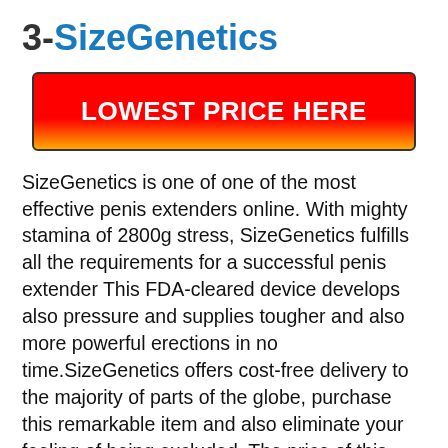3-SizeGenetics
[Figure (other): Red to orange gradient button with text LOWEST PRICE HERE]
SizeGenetics is one of one of the most effective penis extenders online. With mighty stamina of 2800g stress, SizeGenetics fulfills all the requirements for a successful penis extender This FDA-cleared device develops also pressure and supplies tougher and also more powerful erections in no time.SizeGenetics offers cost-free delivery to the majority of parts of the globe, purchase this remarkable item and also eliminate your feeling of being excluded. The price of this extender starts at a budget-friendly price of